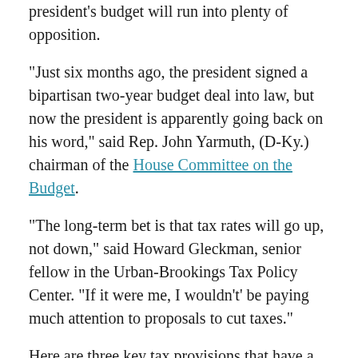president's budget will run into plenty of opposition.
“Just six months ago, the president signed a bipartisan two-year budget deal into law, but now the president is apparently going back on his word,” said Rep. John Yarmuth, (D-Ky.) chairman of the House Committee on the Budget.
“The long-term bet is that tax rates will go up, not down,” said Howard Gleckman, senior fellow in the Urban-Brookings Tax Policy Center. “If it were me, I wouldn’t’ be paying much attention to proposals to cut taxes.”
Here are three key tax provisions that have a 2025 expiration date.
Child tax credit